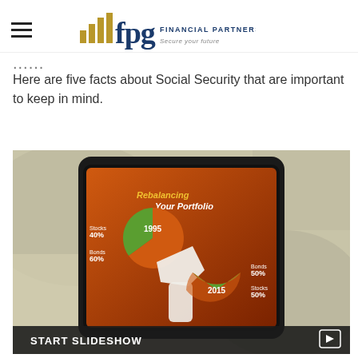FPG Financial Partners Group — Secure your future
...
Here are five facts about Social Security that are important to keep in mind.
[Figure (photo): Tablet device displaying a 'Rebalancing Your Portfolio' infographic showing two pie charts labeled 1995 (Stocks 40%, Bonds 60%) and 2015 (Bonds 50%, Stocks 50%), placed on a bag. Below the image is a 'START SLIDESHOW' button.]